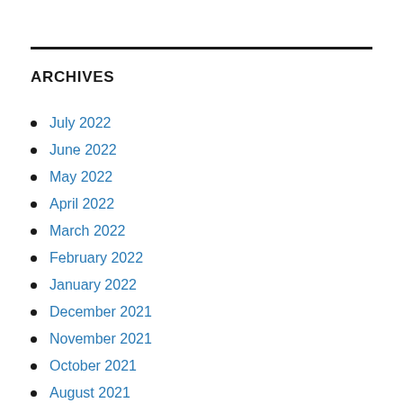ARCHIVES
July 2022
June 2022
May 2022
April 2022
March 2022
February 2022
January 2022
December 2021
November 2021
October 2021
August 2021